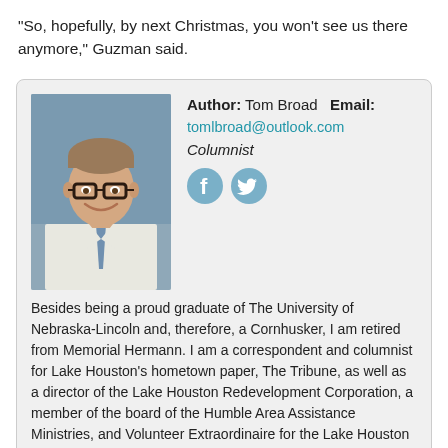“So, hopefully, by next Christmas, you won’t see us there anymore,” Guzman said.
[Figure (photo): Headshot photo of Tom Broad, a middle-aged man with glasses, grey hair, white shirt and tie, smiling.]
Author: Tom Broad   Email: tomlbroad@outlook.com
Columnist
Besides being a proud graduate of The University of Nebraska-Lincoln and, therefore, a Cornhusker, I am retired from Memorial Hermann. I am a correspondent and columnist for Lake Houston’s hometown paper, The Tribune, as well as a director of the Lake Houston Redevelopment Corporation, a member of the board of the Humble Area Assistance Ministries, and Volunteer Extraordinaire for the Lake Houston Area Chamber.
HCA’s Continuity Clinic has time to spend with patients
Victims of abuse have a champion in Shannon McGraw Carr